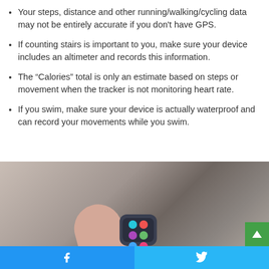Your steps, distance and other running/walking/cycling data may not be entirely accurate if you don't have GPS.
If counting stairs is important to you, make sure your device includes an altimeter and records this information.
The “Calories” total is only an estimate based on steps or movement when the tracker is not monitoring heart rate.
If you swim, make sure your device is actually waterproof and can record your movements while you swim.
[Figure (photo): A hand holding a small square smartwatch with colorful app icons on the screen.]
Facebook share | Twitter share